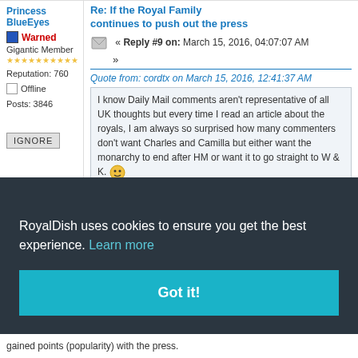Princess BlueEyes
Warned
Gigantic Member
★★★★★★★★★★
Reputation: 760
Offline
Posts: 3846
Re: If the Royal Family continues to push out the press
« Reply #9 on: March 15, 2016, 04:07:07 AM »
Quote from: cordtx on March 15, 2016, 12:41:37 AM
I know Daily Mail comments aren't representative of all UK thoughts but every time I read an article about the royals, I am always so surprised how many commenters don't want Charles and Camilla but either want the monarchy to end after HM or want it to go straight to W & K.

They can't all be Ma.
RoyalDish uses cookies to ensure you get the best experience. Learn more
Got it!
against some, hat kept rt into his ant in been tache. It mber the that a has gained points (popularity) with the press.